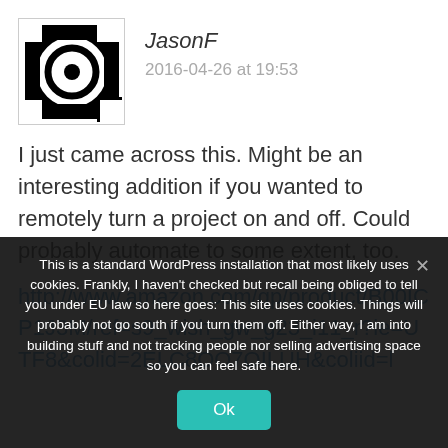[Figure (logo): Circular logo with abstract concentric rings and central dot on black and white background]
JasonF
2016-04-26 at 19:53
I just came across this. Might be an interesting addition if you wanted to remotely turn a project on and off. Could probably automate to some extent, too.
http://www.amazon.com/gp/product/B00ICP1J3M/ref=s9_wish_gw_g23_i11_r?ie=UTF8&colid=2ELC8OO7OILUH&coliid=l
This is a standard WordPress installation that most likely uses cookies. Frankly, I haven't checked but recall being obliged to tell you under EU law so here goes: This site uses cookies. Things will probably not go south if you turn them off. Either way, I am into building stuff and not tracking people nor selling advertising space so you can feel safe here.
Ok